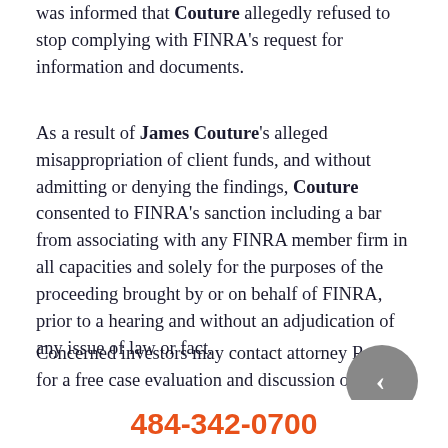was informed that Couture allegedly refused to stop complying with FINRA's request for information and documents.
As a result of James Couture's alleged misappropriation of client funds, and without admitting or denying the findings, Couture consented to FINRA's sanction including a bar from associating with any FINRA member firm in all capacities and solely for the purposes of the proceeding brought by or on behalf of FINRA, prior to a hearing and without an adjudication of any issue of law or fact.
Concerned investors may contact attorney Rosca for a free case evaluation and discussion of potential options. Investors may call 888-998-0530, send an
484-342-0700